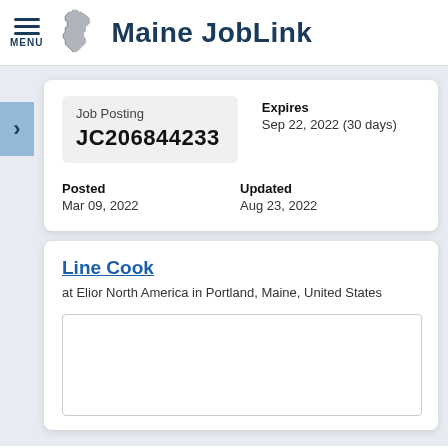Maine JobLink
Job Posting JC206844233
Expires Sep 22, 2022 (30 days)
Posted Mar 09, 2022
Updated Aug 23, 2022
Line Cook
at Elior North America in Portland, Maine, United States